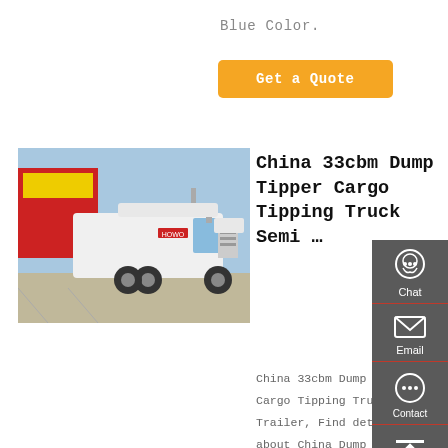Blue Color.
[Figure (other): Orange 'Get a Quote' button]
[Figure (photo): White SINOTRUK HOWO heavy truck tractor parked in a lot with red and blue building in background]
China 33cbm Dump Tipper Cargo Tipping Truck Semi …
China 33cbm Dump Tipper Cargo Tipping Truck Semi-Trailer, Find details about China Dump Trailer, Tipper Trailer from 33cbm Dump Tipper Cargo Tipping Truck
[Figure (infographic): Dark grey sidebar with Chat, Email, Contact, and Top navigation icons]